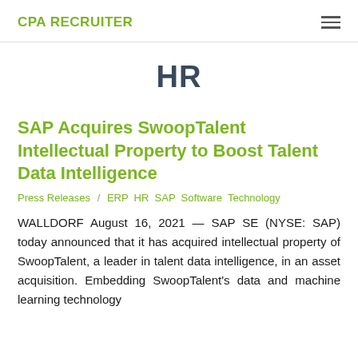CPA RECRUITER
HR
SAP Acquires SwoopTalent Intellectual Property to Boost Talent Data Intelligence
Press Releases / ERP HR SAP Software Technology
WALLDORF August 16, 2021 — SAP SE (NYSE: SAP) today announced that it has acquired intellectual property of SwoopTalent, a leader in talent data intelligence, in an asset acquisition. Embedding SwoopTalent's data and machine learning technology